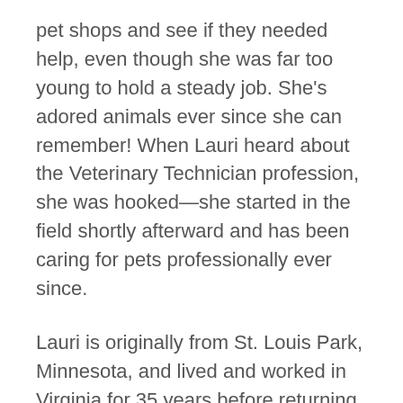pet shops and see if they needed help, even though she was far too young to hold a steady job. She's adored animals ever since she can remember! When Lauri heard about the Veterinary Technician profession, she was hooked—she started in the field shortly afterward and has been caring for pets professionally ever since.
Lauri is originally from St. Louis Park, Minnesota, and lived and worked in Virginia for 35 years before returning to Minnesota in 2007. She began her career at a clinic in Virginia while attending school to study veterinary technology; Lauri ended up staying at that hospital as a Veterinary Technician for 25 years. After moving with her family to Minnesota, she began working at a clinic in Farmington until joining the Burnsville Parkway Animal Hospital family in March of 2016.